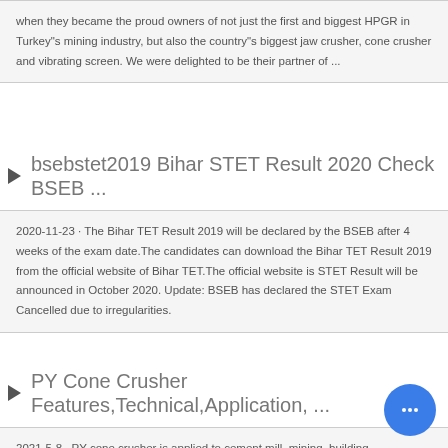when they became the proud owners of not just the first and biggest HPGR in Turkey"s mining industry, but also the country"s biggest jaw crusher, cone crusher and vibrating screen. We were delighted to be their partner of ...
bsebstet2019 Bihar STET Result 2020 Check BSEB ...
2020-11-23 · The Bihar TET Result 2019 will be declared by the BSEB after 4 weeks of the exam date.The candidates can download the Bihar TET Result 2019 from the official website of Bihar TET.The official website is STET Result will be announced in October 2020. Update: BSEB has declared the STET Exam Cancelled due to irregularities.
PY Cone Crusher Features,Technical,Application, ...
2021-5-8 · PY cone crusher is applied to cement mill, mining, building construction, road &bridge construction, railway construction and metallurgy and some other industries. Materials like iron ore, granite, limestone, quartzite, sandstone, cobblestone and some